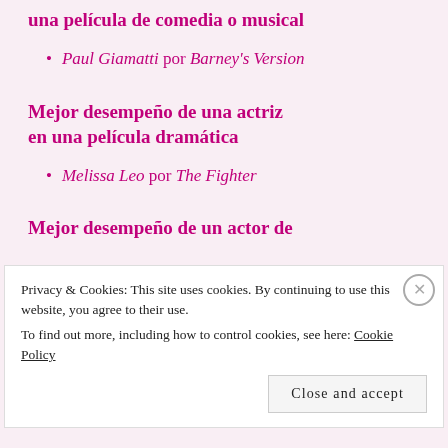una película de comedia o musical
Paul Giamatti por Barney's Version
Mejor desempeño de una actriz en una película dramática
Melissa Leo por The Fighter
Mejor desempeño de un actor de
Privacy & Cookies: This site uses cookies. By continuing to use this website, you agree to their use. To find out more, including how to control cookies, see here: Cookie Policy
Close and accept